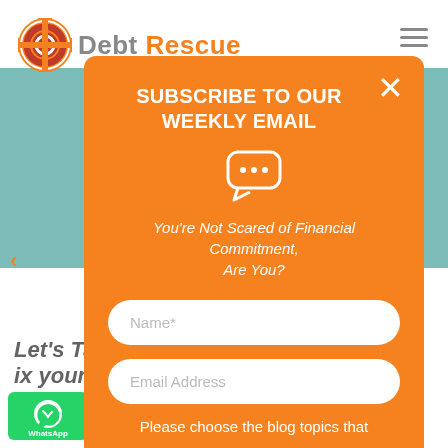[Figure (logo): Debt Rescue logo with circular lifesaver icon in orange/red and grey text]
[Figure (screenshot): Subscribe to our weekly email modal popup over Debt Rescue website. Orange rounded rectangle modal with white text title 'SUBSCRIBE TO OUR WEEKLY EMAIL', chat bubble icon, italic text 'You're Not Scared of Financial Commitment, Are You?', Name* input field, Email Address input field, and text 'Please choose the blog topics that'. Close X button top right. Behind modal: teal background strip, ghost text of article title 'Let's Talk Debt Review: How can ... ix your Debt?', BLOG, DEBT MANAGEMENT category links, date 11 May 2021, left nav arrow, WhatsApp button bottom left.]
SUBSCRIBE TO OUR WEEKLY EMAIL
You're Not Scared of Financial Commitment, Are You?
Name*
Email Address
Please choose the blog topics that
Let's Talk Debt Review: How can ... ix your Debt?
11 May 2021   BLOG ,  DEBT MANAGEMENT